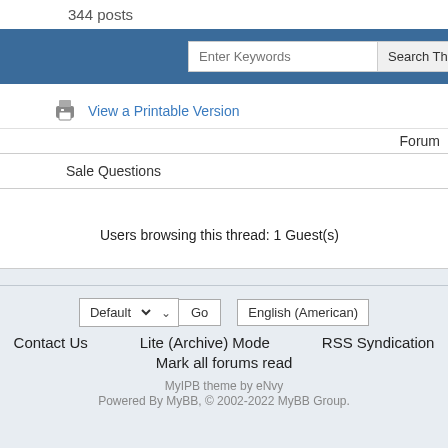344 posts
Enter Keywords  Search Th...
View a Printable Version
Forum
Sale Questions
Users browsing this thread: 1 Guest(s)
Default  Go  English (American)
Contact Us  Lite (Archive) Mode  RSS Syndication
Mark all forums read
MyIPB theme by eNvy
Powered By MyBB, © 2002-2022 MyBB Group.